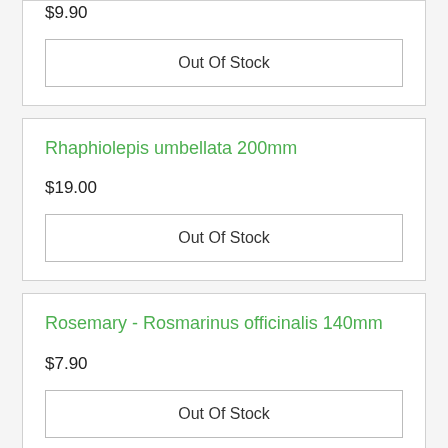$9.90
Out Of Stock
Rhaphiolepis umbellata 200mm
$19.00
Out Of Stock
Rosemary - Rosmarinus officinalis 140mm
$7.90
Out Of Stock